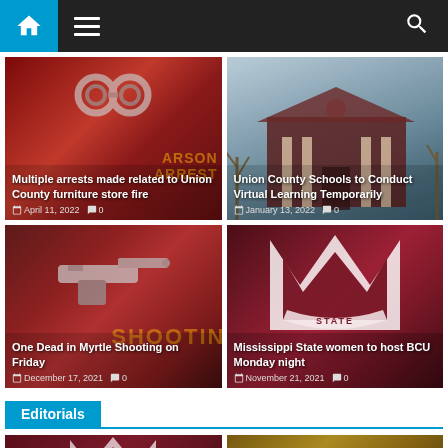[Figure (screenshot): News website navigation bar with home icon, hamburger menu, and search icon]
[Figure (photo): Card: Multiple arrests made related to Union County furniture store fire - April 11, 2022 - 0 comments]
[Figure (photo): Card: Union County Schools to Conduct Virtual Learning Temporarily - January 13, 2022 - 0 comments]
[Figure (photo): Card: One Dead in Myrtle Shooting on Friday - December 17, 2021 - 0 comments]
[Figure (photo): Card: Mississippi State women to host BCU Monday night - November 21, 2021 - 0 comments]
Editorials
[Figure (photo): Bottom thumbnail left - Mississippi State logo]
[Figure (photo): Bottom thumbnail right - decorative/editorial image]